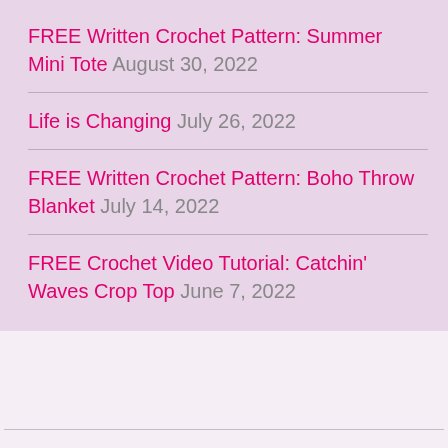FREE Written Crochet Pattern: Summer Mini Tote August 30, 2022
Life is Changing July 26, 2022
FREE Written Crochet Pattern: Boho Throw Blanket July 14, 2022
FREE Crochet Video Tutorial: Catchin' Waves Crop Top June 7, 2022